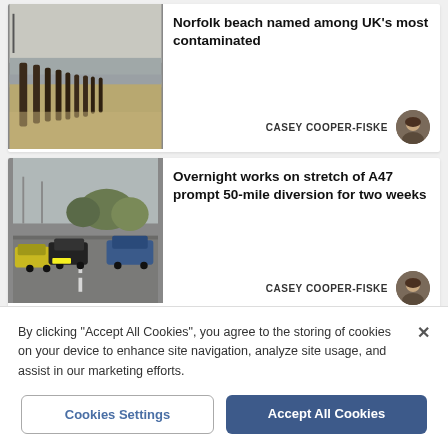[Figure (photo): Beach scene with old wooden posts/groynes in the sand near water]
Norfolk beach named among UK's most contaminated
CASEY COOPER-FISKE
[Figure (photo): Road scene with cars on a dual carriageway, trees in background]
Overnight works on stretch of A47 prompt 50-mile diversion for two weeks
CASEY COOPER-FISKE
By clicking "Accept All Cookies", you agree to the storing of cookies on your device to enhance site navigation, analyze site usage, and assist in our marketing efforts.
Cookies Settings
Accept All Cookies